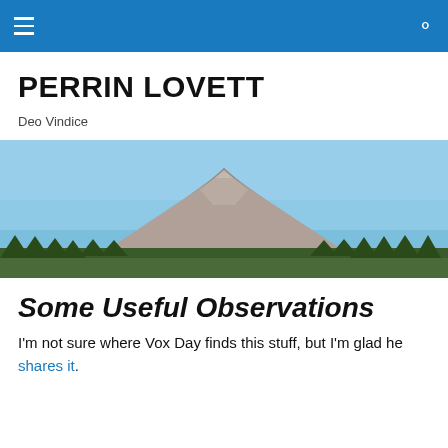≡  🔍
PERRIN LOVETT
Deo Vindice
[Figure (photo): Landscape photo of a rocky mountain peak with pine trees along the base under a blue sky.]
Some Useful Observations
I'm not sure where Vox Day finds this stuff, but I'm glad he shares it.